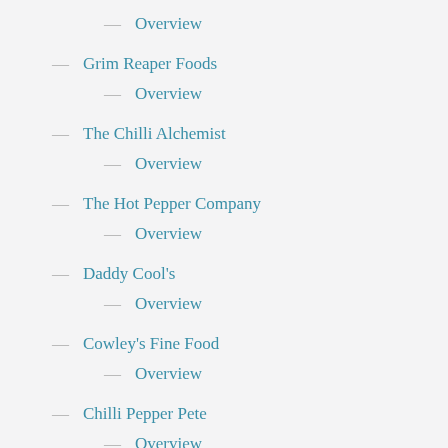Overview
Grim Reaper Foods
Overview
The Chilli Alchemist
Overview
The Hot Pepper Company
Overview
Daddy Cool's
Overview
Cowley's Fine Food
Overview
Chilli Pepper Pete
Overview
The Screaming Chimp
Overview